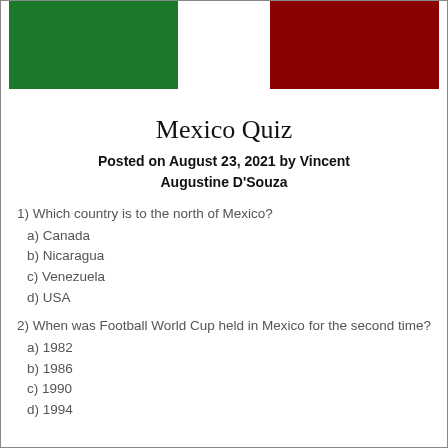[Figure (illustration): Mexican flag colors - green rectangle on left, white center, red rectangle on right]
Mexico Quiz
Posted on August 23, 2021 by Vincent Augustine D'Souza
1) Which country is to the north of Mexico?
a) Canada
b) Nicaragua
c) Venezuela
d) USA
2) When was Football World Cup held in Mexico for the second time?
a) 1982
b) 1986
c) 1990
d) 1994